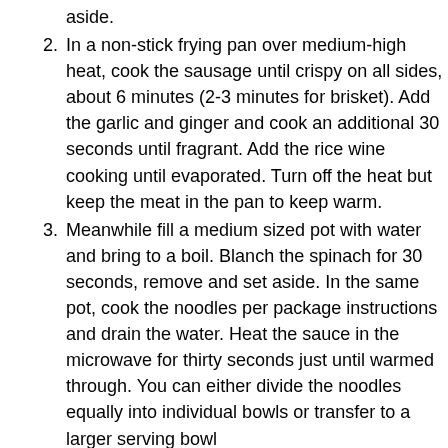aside.
In a non-stick frying pan over medium-high heat, cook the sausage until crispy on all sides, about 6 minutes (2-3 minutes for brisket). Add the garlic and ginger and cook an additional 30 seconds until fragrant. Add the rice wine cooking until evaporated. Turn off the heat but keep the meat in the pan to keep warm.
Meanwhile fill a medium sized pot with water and bring to a boil. Blanch the spinach for 30 seconds, remove and set aside. In the same pot, cook the noodles per package instructions and drain the water. Heat the sauce in the microwave for thirty seconds just until warmed through. You can either divide the noodles equally into individual bowls or transfer to a larger serving bowl